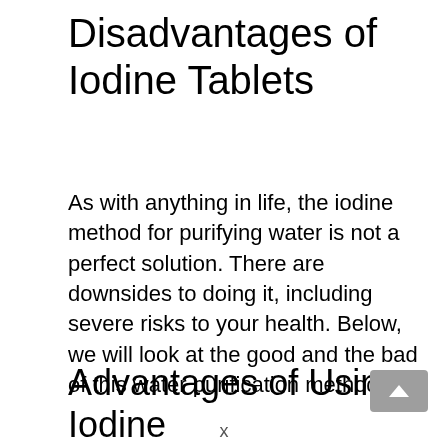Disadvantages of Iodine Tablets
As with anything in life, the iodine method for purifying water is not a perfect solution. There are downsides to doing it, including severe risks to your health. Below, we will look at the good and the bad of this water purification method.
Advantages of Using Iodine